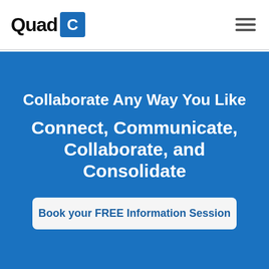Quad C
Collaborate Any Way You Like
Connect, Communicate, Collaborate, and Consolidate
Book your FREE Information Session